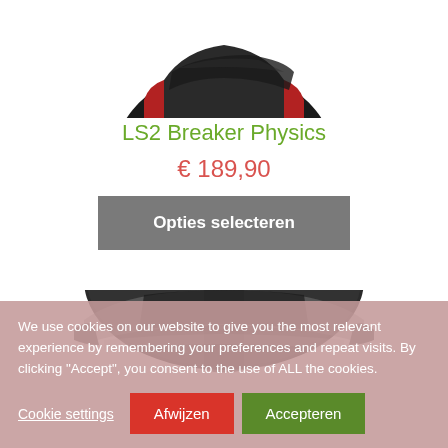[Figure (photo): Top portion of a motorcycle helmet (black and red) cropped at the top of the page]
LS2 Breaker Physics
€ 189,90
Opties selecteren
[Figure (photo): Bottom portion of a dark motorcycle helmet visible in the lower half of the page]
We use cookies on our website to give you the most relevant experience by remembering your preferences and repeat visits. By clicking "Accept", you consent to the use of ALL the cookies.
Cookie settings
Afwijzen
Accepteren